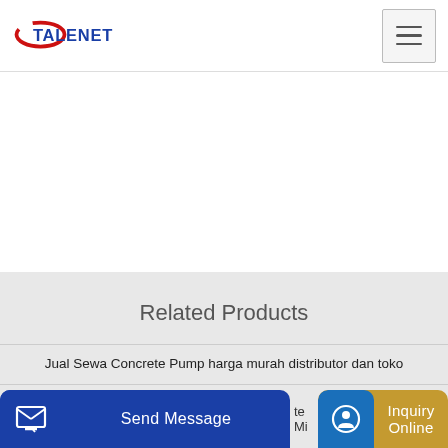TALENET
Related Products
Jual Sewa Concrete Pump harga murah distributor dan toko
Ahluwalia Bharat Concrete mixer manufacturer
Send Message | Inquiry Online